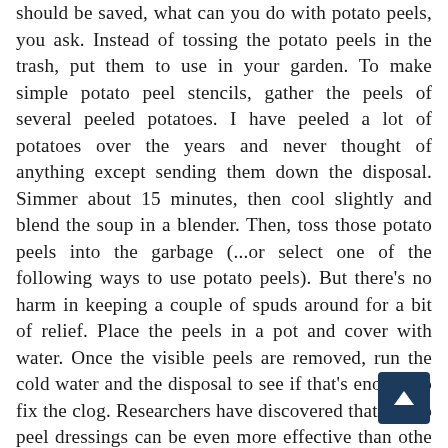should be saved, what can you do with potato peels, you ask. Instead of tossing the potato peels in the trash, put them to use in your garden. To make simple potato peel stencils, gather the peels of several peeled potatoes. I have peeled a lot of potatoes over the years and never thought of anything except sending them down the disposal. Simmer about 15 minutes, then cool slightly and blend the soup in a blender. Then, toss those potato peels into the garbage (...or select one of the following ways to use potato peels). But there's no harm in keeping a couple of spuds around for a bit of relief. Place the peels in a pot and cover with water. Once the visible peels are removed, run the cold water and the disposal to see if that's enough to fix the clog. Researchers have discovered that potato peel dressings can be even more effective than other remedies. Heidi Vincent from GRENADA on December